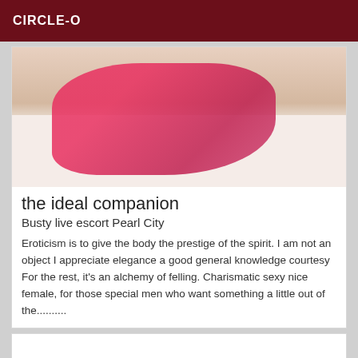CIRCLE-O
[Figure (photo): Person lying on a bed wearing pink/red checkered outfit]
the ideal companion
Busty live escort Pearl City
Eroticism is to give the body the prestige of the spirit. I am not an object I appreciate elegance a good general knowledge courtesy For the rest, it's an alchemy of felling. Charismatic sexy nice female, for those special men who want something a little out of the..........